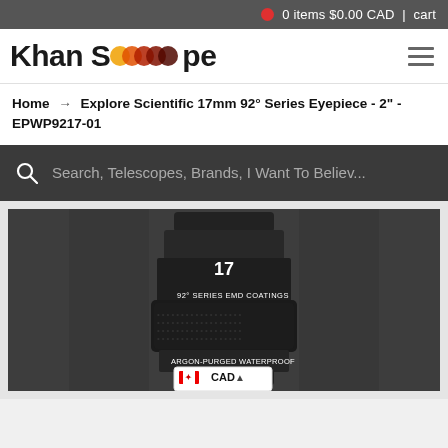0 items $0.00 CAD | cart
[Figure (logo): Khan Scope logo with colorful circular lens graphic in the letter O]
Home → Explore Scientific 17mm 92° Series Eyepiece - 2" - EPWP9217-01
Search, Telescopes, Brands, I Want To Believ...
[Figure (photo): Explore Scientific 17mm 92° Series Eyepiece product photo showing a black cylindrical eyepiece with textured grip, labeled '17', '92° SERIES EMD COATINGS', 'ARGON-PURGED WATERPROOF'. A CAD currency badge is shown at the bottom.]